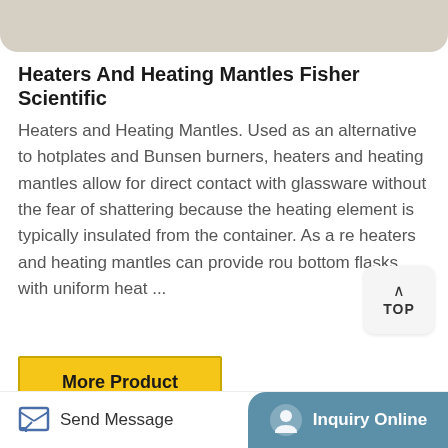[Figure (photo): Partial top image strip showing beige/tan background, cropped at top of page]
Heaters And Heating Mantles Fisher Scientific
Heaters and Heating Mantles. Used as an alternative to hotplates and Bunsen burners, heaters and heating mantles allow for direct contact with glassware without the fear of shattering because the heating element is typically insulated from the container. As a re heaters and heating mantles can provide rou bottom flasks with uniform heat ...
[Figure (screenshot): TOP navigation button with caret/chevron up icon and text TOP, white rounded square button]
[Figure (other): More Product button with yellow/gold background and dark border]
[Figure (photo): Bottom portion of page showing woven heating mantle fabric texture in beige/cream color with rounded top corners]
[Figure (screenshot): Footer bar with Send Message button on left and Inquiry Online button on right with teal/blue background]